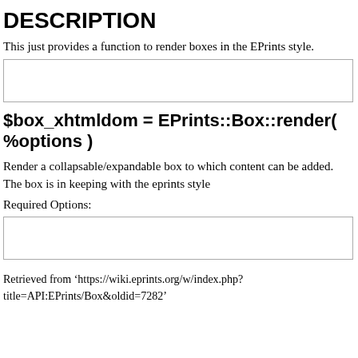DESCRIPTION
This just provides a function to render boxes in the EPrints style.
[Figure (other): Empty bordered box placeholder]
$box_xhtmldom = EPrints::Box::render( %options )
Render a collapsable/expandable box to which content can be added. The box is in keeping with the eprints style
Required Options:
[Figure (other): Empty bordered box placeholder]
Retrieved from ‘https://wiki.eprints.org/w/index.php?title=API:EPrints/Box&oldid=7282’